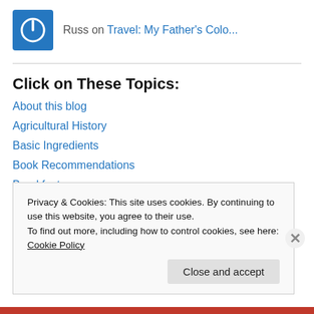[Figure (logo): Blue square logo with white power button icon, next to header text 'Russ on Travel: My Father's Colo...']
Russ on Travel: My Father's Colo...
Click on These Topics:
About this blog
Agricultural History
Basic Ingredients
Book Recommendations
Breakfast
Cake Recipes
Chef's Tips
Privacy & Cookies: This site uses cookies. By continuing to use this website, you agree to their use. To find out more, including how to control cookies, see here: Cookie Policy
Close and accept